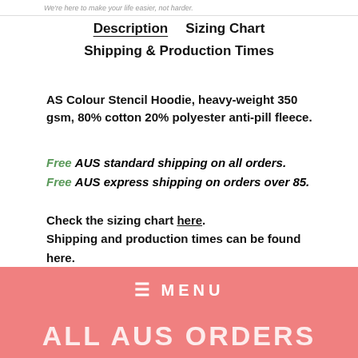We're here to make your life easier, not harder.
Description   Sizing Chart   Shipping & Production Times
AS Colour Stencil Hoodie, heavy-weight 350 gsm, 80% cotton 20% polyester anti-pill fleece.
Free AUS standard shipping on all orders. Free AUS express shipping on orders over 85.
Check the sizing chart here. Shipping and production times can be found here.
≡ MENU   ALL AUS ORDERS